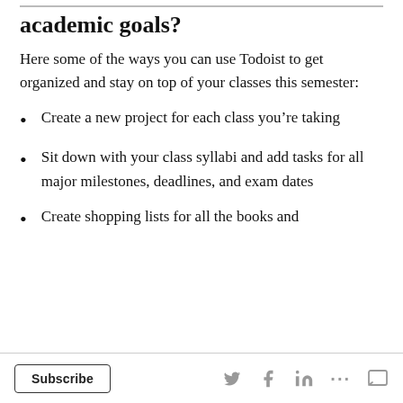academic goals?
Here some of the ways you can use Todoist to get organized and stay on top of your classes this semester:
Create a new project for each class you’re taking
Sit down with your class syllabi and add tasks for all major milestones, deadlines, and exam dates
Create shopping lists for all the books and
Subscribe  [Twitter] [Facebook] [LinkedIn] [...] [Comment]